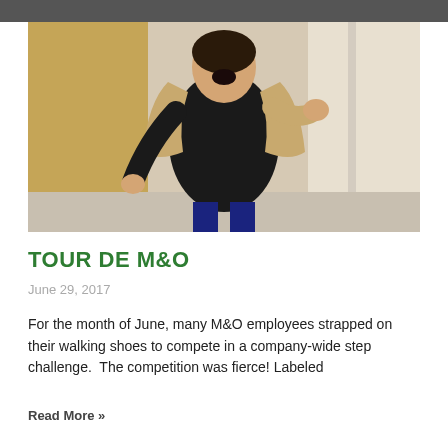[Figure (photo): Person laughing and posing energetically in an office hallway, wearing a black top and tan cardigan]
TOUR DE M&O
June 29, 2017
For the month of June, many M&O employees strapped on their walking shoes to compete in a company-wide step challenge.  The competition was fierce! Labeled
Read More »